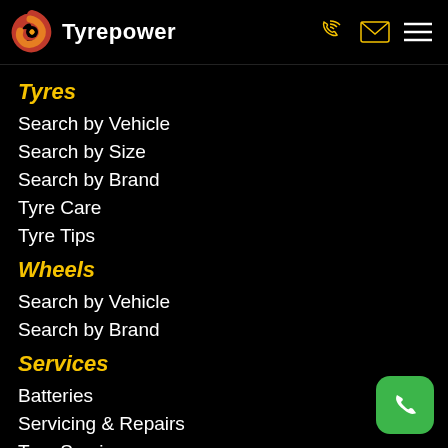Tyrepower
Tyres
Search by Vehicle
Search by Size
Search by Brand
Tyre Care
Tyre Tips
Wheels
Search by Vehicle
Search by Brand
Services
Batteries
Servicing & Repairs
Tyre Services
Wheel Services
Specials